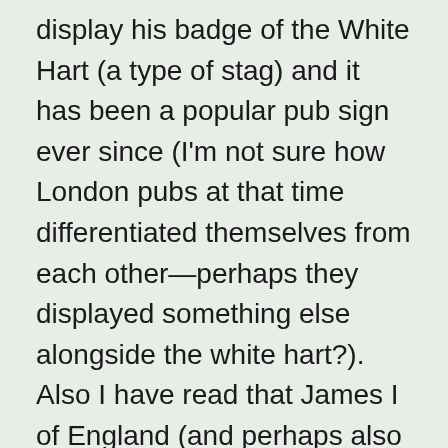display his badge of the White Hart (a type of stag) and it has been a popular pub sign ever since (I'm not sure how London pubs at that time differentiated themselves from each other—perhaps they displayed something else alongside the white hart?). Also I have read that James I of England (and perhaps also in his earlier role as James VI of Scotland), in the 17th century required the Red Lion from his arms to be displayed on all important public buildings, including pubs (it was earlier also the personal badge of John of Gaunt, Duke of Lancaster). Other royal emblems that have